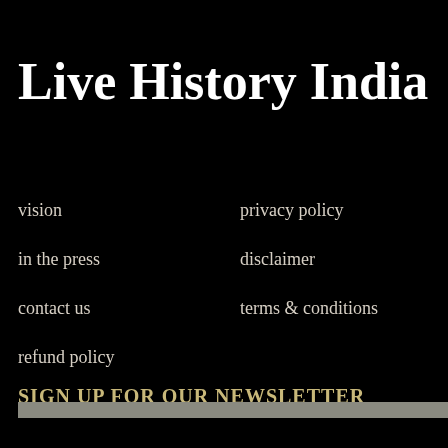Live History India
vision
in the press
contact us
refund policy
privacy policy
disclaimer
terms & conditions
SIGN UP FOR OUR NEWSLETTER